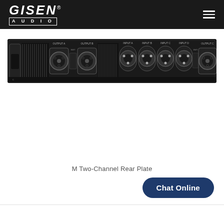GISEN AUDIO
[Figure (photo): Rear panel of a Gisen Audio M Two-Channel power amplifier, showing outputs, inputs (XLR connectors), and various controls on a rack-mount unit.]
M Two-Channel Rear Plate
Chat Online